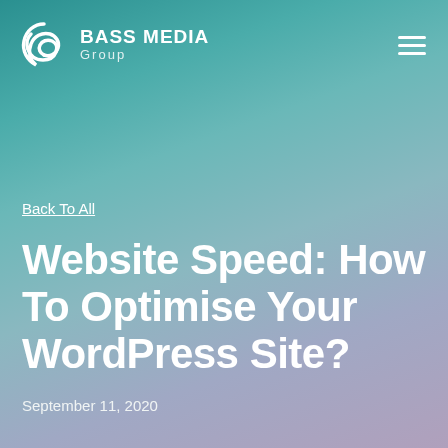[Figure (logo): Bass Media Group logo with stylized B icon and text]
Back To All
Website Speed: How To Optimise Your WordPress Site?
September 11, 2020